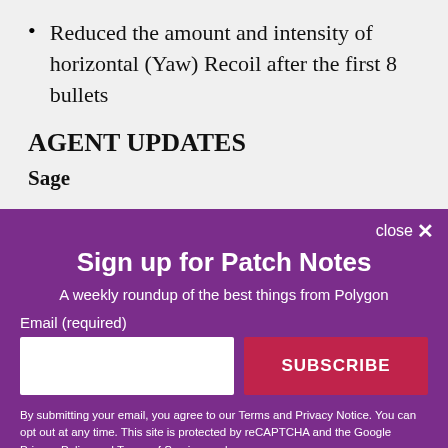Reduced the amount and intensity of horizontal (Yaw) Recoil after the first 8 bullets
AGENT UPDATES
Sage
close ✕
Sign up for Patch Notes
A weekly roundup of the best things from Polygon
Email (required)
SUBSCRIBE
By submitting your email, you agree to our Terms and Privacy Notice. You can opt out at any time. This site is protected by reCAPTCHA and the Google Privacy Policy and Terms of Service apply.